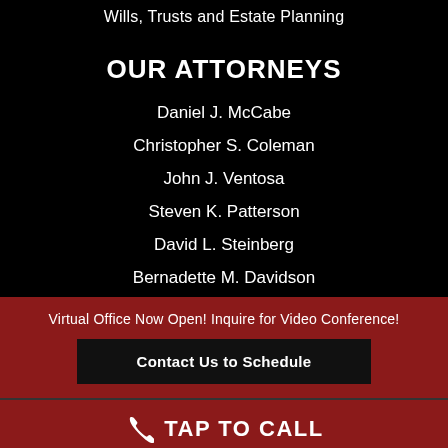Wills, Trusts and Estate Planning
OUR ATTORNEYS
Daniel J. McCabe
Christopher S. Coleman
John J. Ventosa
Steven K. Patterson
David L. Steinberg
Bernadette M. Davidson
Virtual Office Now Open! Inquire for Video Conference!
Contact Us to Schedule
TAP TO CALL